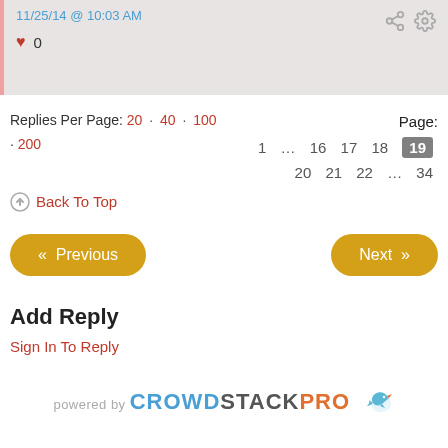11/25/14 @ 10:03 AM
♥ 0
Replies Per Page: 20 · 40 · 100 · 200
Page: 1 ... 16 17 18 19 20 21 22 ... 34
Back To Top
« Previous
Next »
Add Reply
Sign In To Reply
powered by CROWDSTACKPRO